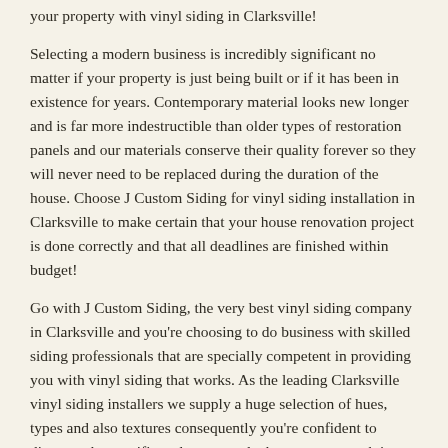your property with vinyl siding in Clarksville!
Selecting a modern business is incredibly significant no matter if your property is just being built or if it has been in existence for years. Contemporary material looks new longer and is far more indestructible than older types of restoration panels and our materials conserve their quality forever so they will never need to be replaced during the duration of the house. Choose J Custom Siding for vinyl siding installation in Clarksville to make certain that your house renovation project is done correctly and that all deadlines are finished within budget!
Go with J Custom Siding, the very best vinyl siding company in Clarksville and you're choosing to do business with skilled siding professionals that are specially competent in providing you with vinyl siding that works. As the leading Clarksville vinyl siding installers we supply a huge selection of hues, types and also textures consequently you're confident to discover the specific style you need whenever your task is finished. that is to be provided - and also this has aided all of us to get consideration all through Clarksville as a innovator inside vinyl siding companies.